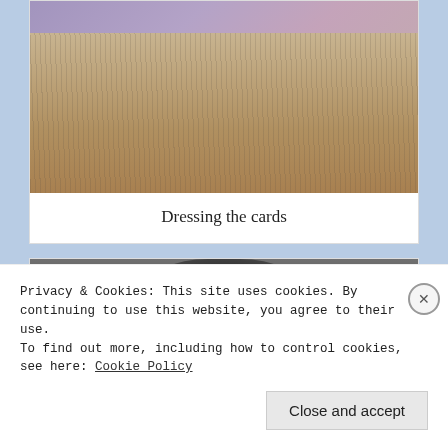[Figure (photo): Close-up photo of a wool carding tool (hand card) with many fine metal pins/needles, with purple/violet wool fibers visible at the top on a wooden surface.]
Dressing the cards
[Figure (photo): Partial photo showing what appears to be a black animal (possibly a cat or sheep) on a textured surface, partially obscured by cookie consent banner.]
Privacy & Cookies: This site uses cookies. By continuing to use this website, you agree to their use.
To find out more, including how to control cookies, see here: Cookie Policy
Close and accept